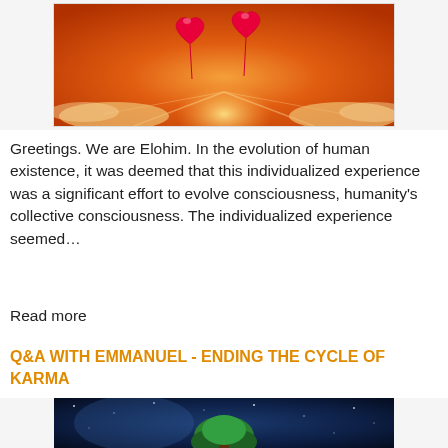[Figure (photo): Two red heart-shaped balloons against an orange sunset sky with clouds and light rays]
Greetings. We are Elohim. In the evolution of human existence, it was deemed that this individualized experience was a significant effort to evolve consciousness, humanity’s collective consciousness. The individualized experience seemed…
Read more
Q&A WITH EMMANUEL - ENDING THE CYCLE OF KARMA
[Figure (photo): A glowing green tree in a cosmic space scene with blue and purple stars and nebula]